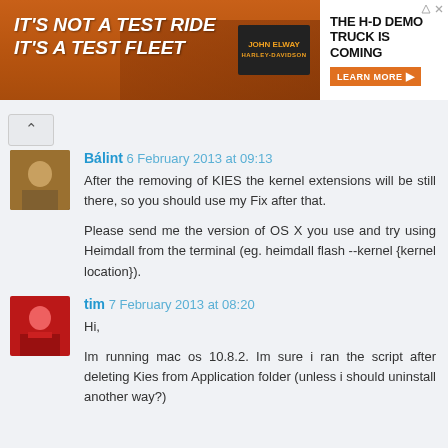[Figure (other): Harley-Davidson advertisement banner. Left side shows orange/brown motorcycle-themed image with text IT'S NOT A TEST RIDE IT'S A TEST FLEET. Right side white background with text THE H-D DEMO TRUCK IS COMING and a LEARN MORE button.]
Bálint  6 February 2013 at 09:13
After the removing of KIES the kernel extensions will be still there, so you should use my Fix after that.

Please send me the version of OS X you use and try using Heimdall from the terminal (eg. heimdall flash --kernel {kernel location}).
tim  7 February 2013 at 08:20
Hi,

Im running mac os 10.8.2. Im sure i ran the script after deleting Kies from Application folder (unless i should uninstall another way?)